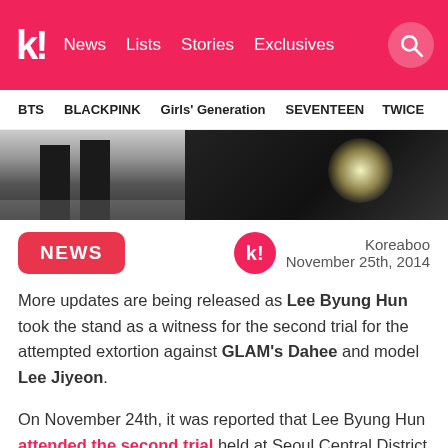k! News Lists Stories Exclusives
BTS BLACKPINK Girls' Generation SEVENTEEN TWICE
[Figure (photo): Dark photograph showing lower body of a person walking, possibly at a court or public event, with bright lens flare on the right side]
NEWS
Koreaboo
November 25th, 2014
More updates are being released as Lee Byung Hun took the stand as a witness for the second trial for the attempted extortion against GLAM's Dahee and model Lee Jiyeon.
On November 24th, it was reported that Lee Byung Hun attended the second trial held at Seoul Central District Court, where made his